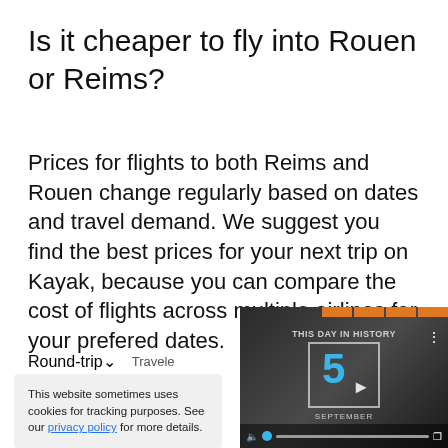Is it cheaper to fly into Rouen or Reims?
Prices for flights to both Reims and Rouen change regularly based on dates and travel demand. We suggest you find the best prices for your next trip on Kayak, because you can compare the cost of flights across multiple airlines for your prefered dates.
Round-trip▼   Travele
This website sometimes uses cookies for tracking purposes. See our privacy policy for more details.
[Figure (screenshot): Video thumbnail showing 'THIS DAY IN HISTORY' with a large number 5 and 'SEPTEMBER' text, with playback controls]